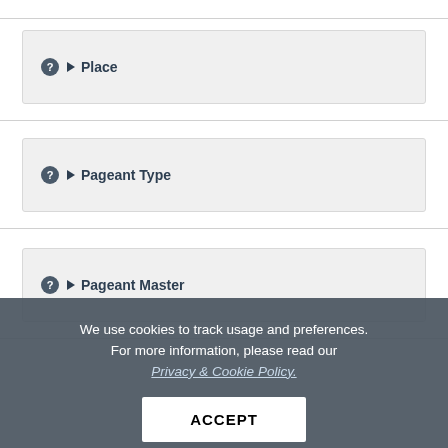Place
Pageant Type
Pageant Master
We use cookies to track usage and preferences. For more information, please read our Privacy & Cookie Policy.
ACCEPT
Author
Composer